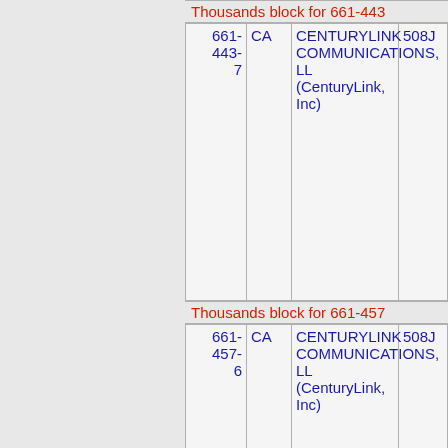Thousands block for 661-443
| Number | State | Company | Code |
| --- | --- | --- | --- |
| 661-443-7 | CA | CENTURYLINK COMMUNICATIONS, LL (CenturyLink, Inc) | 508J |
Thousands block for 661-457
| Number | State | Company | Code |
| --- | --- | --- | --- |
| 661-457-6 | CA | CENTURYLINK COMMUNICATIONS, LL (CenturyLink, Inc) | 508J |